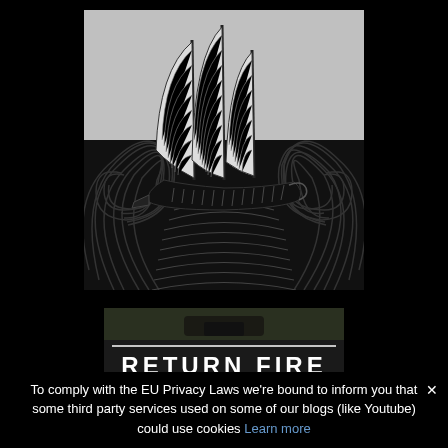[Figure (illustration): Black and white woodcut-style illustration of a sailing ship with large triangular sails on stylized swirling waves]
[Figure (photo): A dark banner image with text 'RETURN FIRE' in large white capital letters, with what appears to be a blurred background photo at the top]
To comply with the EU Privacy Laws we're bound to inform you that some third party services used on some of our blogs (like Youtube) could use cookies Learn more